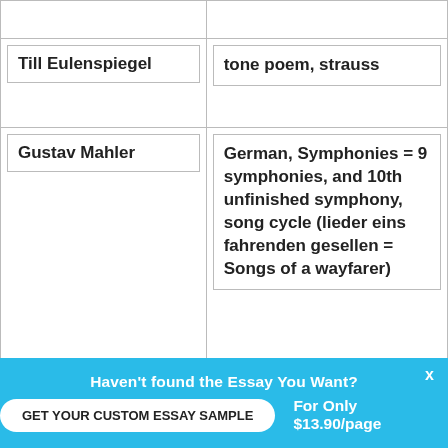| Term | Definition |
| --- | --- |
|  |  |
| Till Eulenspiegel | tone poem, strauss |
| Gustav Mahler | German, Symphonies = 9 symphonies, and 10th unfinished symphony, song cycle (lieder eins fahrenden gesellen = Songs of a wayfarer) |
| Songs of a Wayfarer | song cycle , Mahler, appears in the first and |
Haven't found the Essay You Want?
GET YOUR CUSTOM ESSAY SAMPLE
For Only $13.90/page